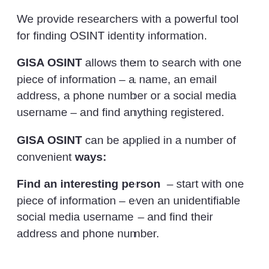We provide researchers with a powerful tool for finding OSINT identity information.
GISA OSINT allows them to search with one piece of information – a name, an email address, a phone number or a social media username – and find anything registered.
GISA OSINT can be applied in a number of convenient ways:
Find an interesting person – start with one piece of information – even an unidentifiable social media username – and find their address and phone number.